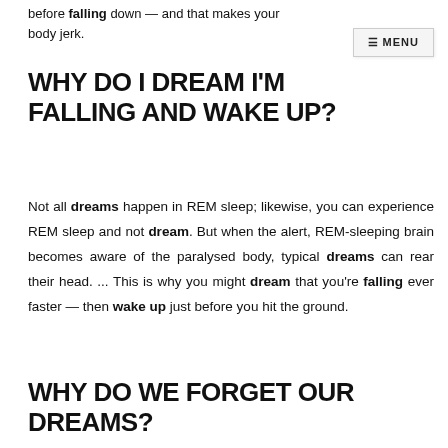before falling down — and that makes your body jerk.
≡ MENU
WHY DO I DREAM I'M FALLING AND WAKE UP?
Not all dreams happen in REM sleep; likewise, you can experience REM sleep and not dream. But when the alert, REM-sleeping brain becomes aware of the paralysed body, typical dreams can rear their head. ... This is why you might dream that you're falling ever faster — then wake up just before you hit the ground.
WHY DO WE FORGET OUR DREAMS?